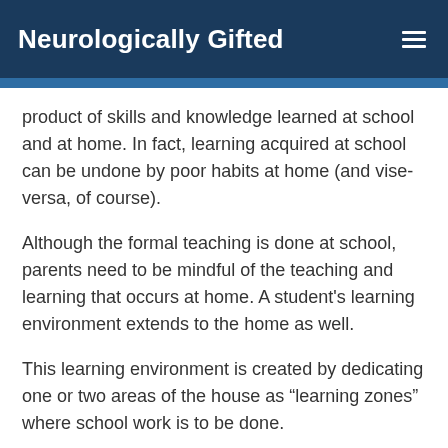Neurologically Gifted
product of skills and knowledge learned at school and at home. In fact, learning acquired at school can be undone by poor habits at home (and vise-versa, of course).
Although the formal teaching is done at school, parents need to be mindful of the teaching and learning that occurs at home. A student's learning environment extends to the home as well.
This learning environment is created by dedicating one or two areas of the house as “learning zones” where school work is to be done.
In addition to these zones, “learning hygiene” is also critical. That is, adhering to designated learning areas